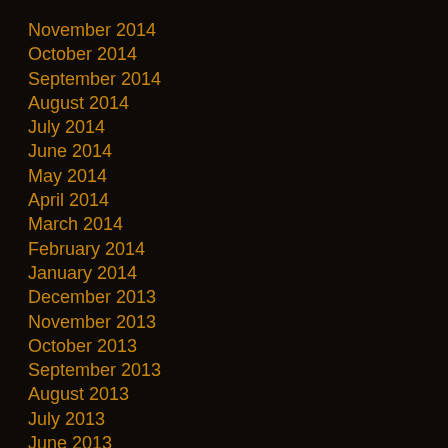November 2014
October 2014
September 2014
August 2014
July 2014
June 2014
May 2014
April 2014
March 2014
February 2014
January 2014
December 2013
November 2013
October 2013
September 2013
August 2013
July 2013
June 2013
May 2013
April 2013